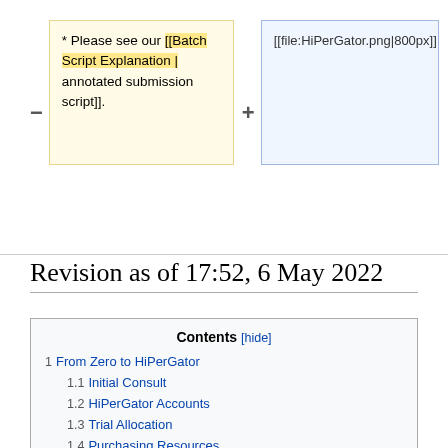* Please see our [[Batch Script Explanation | annotated submission script]].
[[file:HiPerGator.png|800px]]
Revision as of 17:52, 6 May 2022
| Contents [hide] |
| --- |
| 1  From Zero to HiPerGator |
| 1.1  Initial Consult |
| 1.2  HiPerGator Accounts |
| 1.3  Trial Allocation |
| 1.4  Purchasing Resources |
| 2  Introduction to Using HiPerGator |
| 2.1  Interfaces |
| 2.1.1  Connecting to a HiPerGator Terminal via SSH |
| 2.1.1.1  Connecting from Windows |